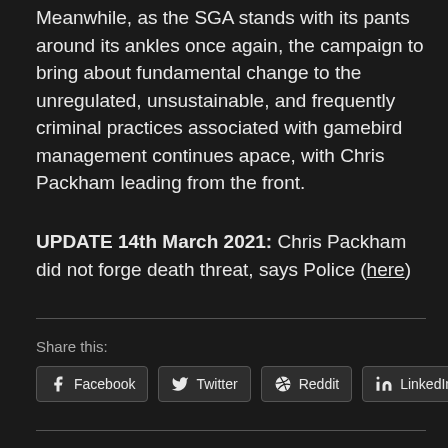Meanwhile, as the SGA stands with its pants around its ankles once again, the campaign to bring about fundamental change to the unregulated, unsustainable, and frequently criminal practices associated with gamebird management continues apace, with Chris Packham leading from the front.
UPDATE 14th March 2021: Chris Packham did not forge death threat, says Police (here)
Share this:
Facebook  Twitter  Reddit  LinkedIn